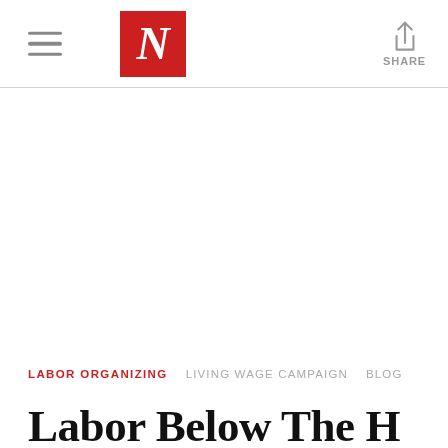N | The Nation — navigation header with hamburger menu, logo, and share button
LABOR ORGANIZING   LIVING WAGE CAMPAIGN   BLOG
Labor Below The…